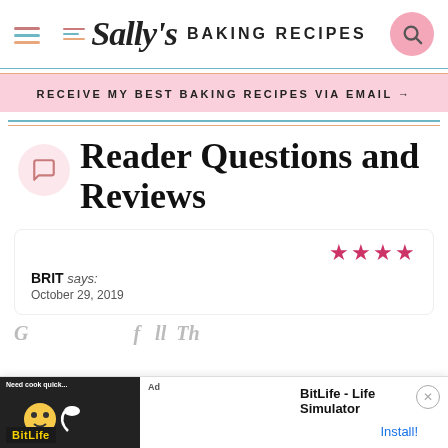Sally's BAKING RECIPES
RECEIVE MY BEST BAKING RECIPES VIA EMAIL →
Reader Questions and Reviews
BRIT says: October 29, 2019
[Figure (other): Ad banner for BitLife - Life Simulator mobile app]